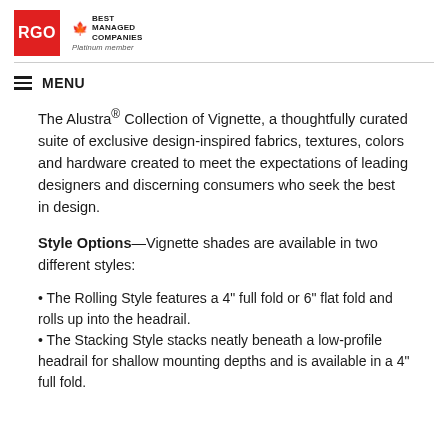[Figure (logo): RGO red square logo and Canada's Best Managed Companies Platinum member logo]
MENU
The Alustra® Collection of Vignette, a thoughtfully curated suite of exclusive design-inspired fabrics, textures, colors and hardware created to meet the expectations of leading designers and discerning consumers who seek the best in design.
Style Options—Vignette shades are available in two different styles:
• The Rolling Style features a 4" full fold or 6" flat fold and rolls up into the headrail.
• The Stacking Style stacks neatly beneath a low-profile headrail for shallow mounting depths and is available in a 4" full fold.